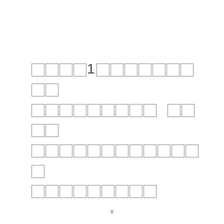[CJK/Asian text rendered as placeholder glyphs — content not extractable due to encoding]
v